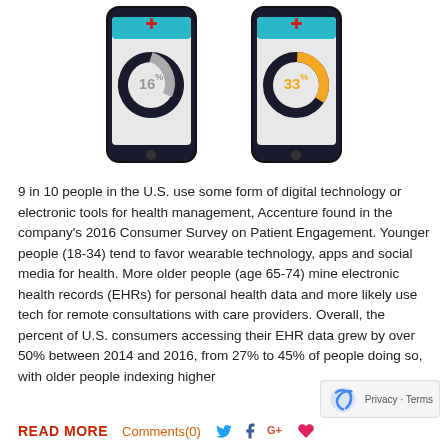[Figure (infographic): Two smartphone illustrations each showing a donut chart. Left phone shows 16% in grey/dark donut, right phone shows 33% in orange/dark donut. Both phones have a red cross icon at the top.]
9 in 10 people in the U.S. use some form of digital technology or electronic tools for health management, Accenture found in the company's 2016 Consumer Survey on Patient Engagement. Younger people (18-34) tend to favor wearable technology, apps and social media for health. More older people (age 65-74) mine electronic health records (EHRs) for personal health data and more likely use tech for remote consultations with care providers. Overall, the percent of U.S. consumers accessing their EHR data grew by over 50% between 2014 and 2016, from 27% to 45% of people doing so, with older people indexing higher
READ MORE   Comments(0)